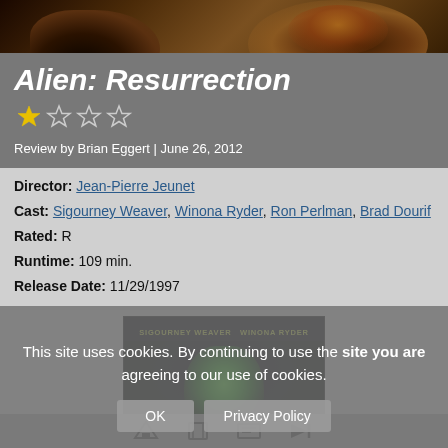[Figure (photo): Dark close-up photo of hands, brownish tones, top of page]
Alien: Resurrection
★☆☆☆ (1 out of 4 stars rating)
Review by Brian Eggert | June 26, 2012
Director: Jean-Pierre Jeunet
Cast: Sigourney Weaver, Winona Ryder, Ron Perlman, Brad Dourif
Rated: R
Runtime: 109 min.
Release Date: 11/29/1997
[Figure (photo): Movie poster for Alien Resurrection showing green alien head against dark background with text SIGOURNEY WEAVER WINONA RYDER at top]
This site uses cookies. By continuing to use the site you are agreeing to our use of cookies.